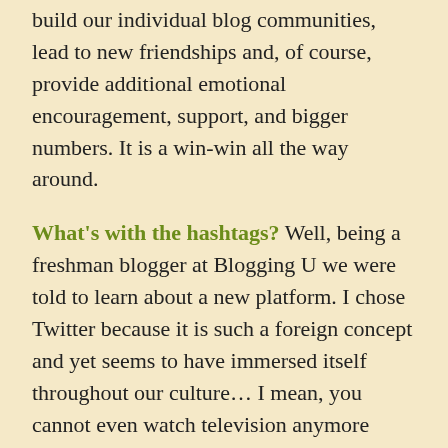build our individual blog communities, lead to new friendships and, of course, provide additional emotional encouragement, support, and bigger numbers. It is a win-win all the way around.
What's with the hashtags? Well, being a freshman blogger at Blogging U we were told to learn about a new platform. I chose Twitter because it is such a foreign concept and yet seems to have immersed itself throughout our culture… I mean, you cannot even watch television anymore without some sort of hashtag or real-time comment popping up!
So I have one hashtag for all of my poetry parties, it is #memeespoetryparties. I encourage you to use it as a tag for all of your poetry party submissions.  It's kinda like